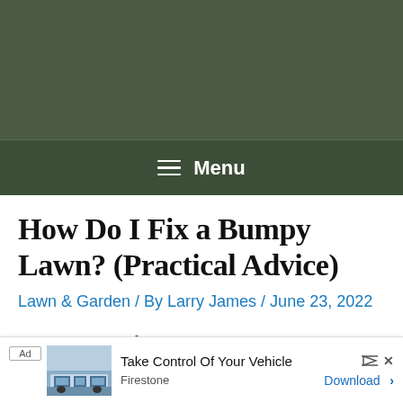≡ Menu
How Do I Fix a Bumpy Lawn? (Practical Advice)
Lawn & Garden / By Larry James / June 23, 2022
The new part of our lawn by our extension is pretty good as it's just been seeded. However, the part by the old house is really bumpy. So how do we flatten
[Figure (screenshot): Advertisement banner: Take Control Of Your Vehicle - Firestone, Download button, with ad label and building/auto service image]